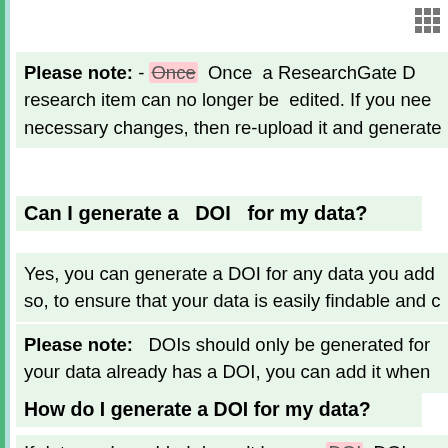Please note: - Once  Once  a ResearchGate DOI research item can no longer be  edited. If you need necessary changes, then re-upload it and generate
Can I generate a  DOI  for my data?
Yes, you can generate a DOI for any data you add so, to ensure that your data is easily findable and c
Please note:  DOIs should only be generated for your data already has a DOI, you can add it when
How do I generate a DOI for my data?
If data you've added doesn't have a  DOI  DOI ye these steps: